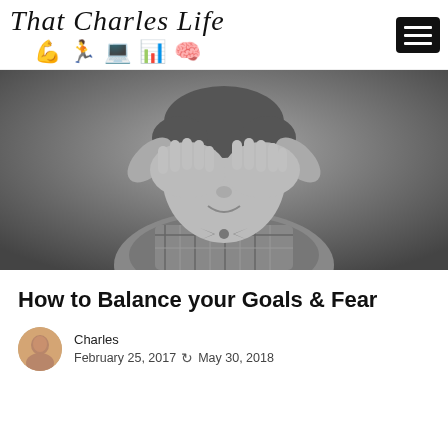That Charles Life
[Figure (photo): Black and white photo of a young child covering their eyes with both hands, wearing a checkered outfit]
How to Balance your Goals & Fear
Charles
February 25, 2017  May 30, 2018